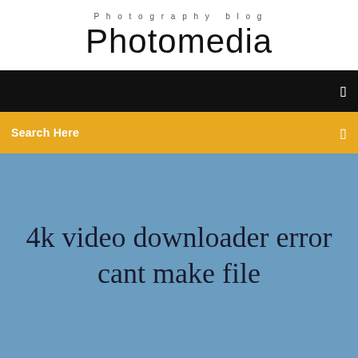Photography blog
Photomedia
☰
Search Here
☰
4k video downloader error cant make file